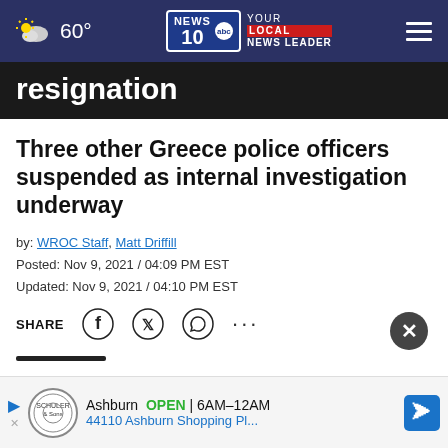60° NEWS 10 YOUR LOCAL NEWS LEADER
resignation
Three other Greece police officers suspended as internal investigation underway
by: WROC Staff, Matt Driffill
Posted: Nov 9, 2021 / 04:09 PM EST
Updated: Nov 9, 2021 / 04:10 PM EST
SHARE
ROCHESTER, NY (WROC) — Former Greece Police Chief...connection to an October crash that led to his
[Figure (other): Advertisement banner: Ashburn OPEN 6AM-12AM, 44110 Ashburn Shopping Pl...]